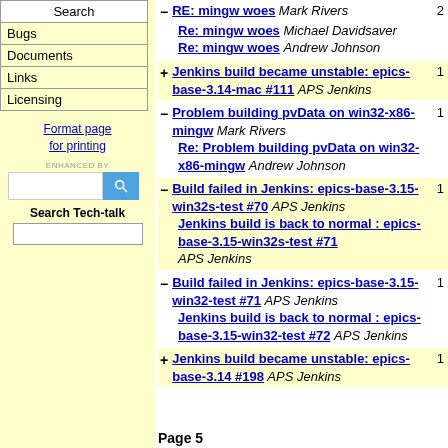Search
Bugs
Documents
Links
Licensing
Format page for printing
ENHANCED BY [search box]
Search Tech-talk
- RE: mingw woes Mark Rivers 2
  Re: mingw woes Michael Davidsaver
  Re: mingw woes Andrew Johnson
+ Jenkins build became unstable: epics-base-3.14-mac #111 APS Jenkins 1
- Problem building pvData on win32-x86-mingw Mark Rivers 1
  Re: Problem building pvData on win32-x86-mingw Andrew Johnson
- Build failed in Jenkins: epics-base-3.15-win32s-test #70 APS Jenkins 1
  Jenkins build is back to normal : epics-base-3.15-win32s-test #71 APS Jenkins
- Build failed in Jenkins: epics-base-3.15-win32-test #71 APS Jenkins 1
  Jenkins build is back to normal : epics-base-3.15-win32-test #72 APS Jenkins
+ Jenkins build became unstable: epics-base-3.14 #198 APS Jenkins 1
Page 5